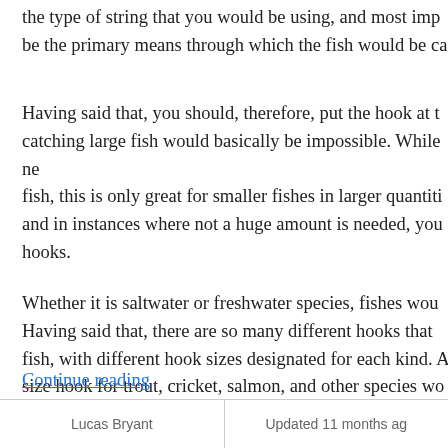the type of string that you would be using, and most imp... be the primary means through which the fish would be ca...
Having said that, you should, therefore, put the hook at t... catching large fish would basically be impossible. While ne... fish, this is only great for smaller fishes in larger quantiti... and in instances where not a huge amount is needed, you... hooks.
Whether it is saltwater or freshwater species, fishes wou... Having said that, there are so many different hooks that ... fish, with different hook sizes designated for each kind. A... size hook for trout, cricket, salmon, and other species wo...
Continue reading
Lucas Bryant | Updated 11 months ag...